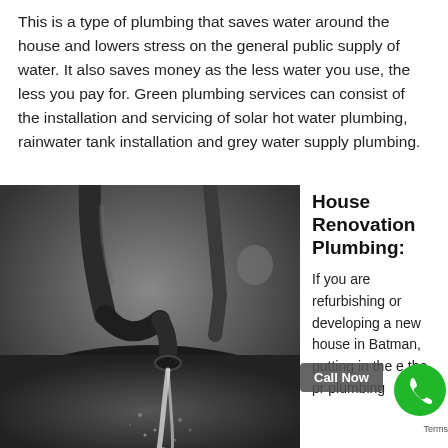This is a type of plumbing that saves water around the house and lowers stress on the general public supply of water. It also saves money as the less water you use, the less you pay for. Green plumbing services can consist of the installation and servicing of solar hot water plumbing, rainwater tank installation and grey water supply plumbing.
[Figure (photo): Close-up black and white photo of a kitchen faucet with water streaming down into a sink, water droplets visible]
House Renovation Plumbing:
If you are refurbishing or developing a new house in Batman, putting in the e the pr plumbing